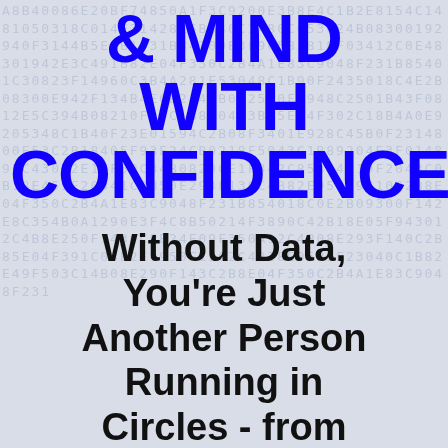& MIND WITH CONFIDENCE
Without Data, You're Just Another Person Running in Circles - from One Health Fad to the Next.